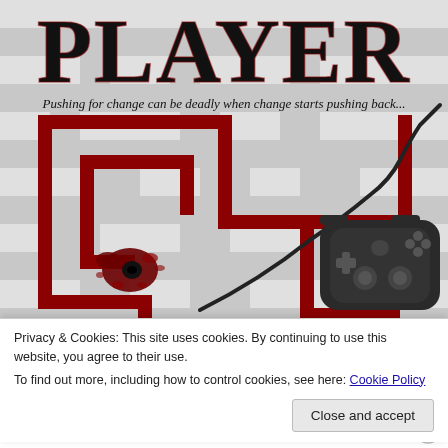[Figure (illustration): Book cover for 'PLAYER - A Third Wave Mystery'. Large bold black serif text 'PLAYER' at top with red decorative letters. Italic subtitle: 'Pushing for change can be deadly when change starts pushing back...'. Background shows a grey and dark red maze pattern. Center image features a dark game controller with a cord, and a blood splatter in the lower left corner.]
Privacy & Cookies: This site uses cookies. By continuing to use this website, you agree to their use.
To find out more, including how to control cookies, see here: Cookie Policy
Close and accept
A THIRD WAVE MYSTERY